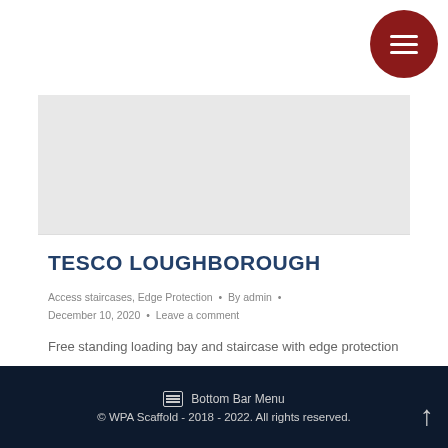[Figure (other): Hamburger menu button (dark red circle with three white horizontal lines) in top-right corner]
[Figure (photo): Gray banner/hero image placeholder area]
TESCO LOUGHBOROUGH
Access staircases, Edge Protection • By admin • December 10, 2020 • Leave a comment
Free standing loading bay and staircase with edge protection
Bottom Bar Menu
© WPA Scaffold - 2018 - 2022. All rights reserved.